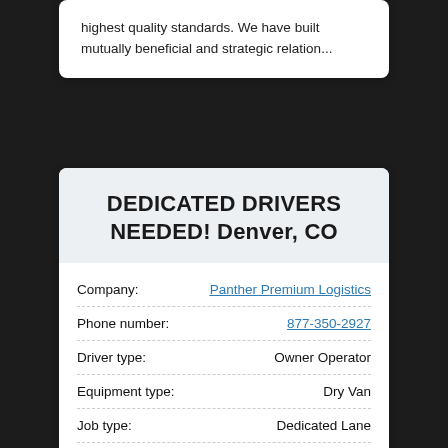highest quality standards. We have built mutually beneficial and strategic relation...
DEDICATED DRIVERS NEEDED! Denver, CO
| Field | Value |
| --- | --- |
| Company: | Panther Premium Logistics |
| Phone number: | 877-350-2927 |
| Driver type: | Owner Operator |
| Equipment type: | Dry Van |
| Job type: | Dedicated Lane |
| Miles per week: | ... |
| Compensation: | ... |
| Bonus: | ... |
| Home time: | ... |